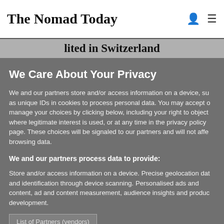The Nomad Today
lited in Switzerland
We Care About Your Privacy
We and our partners store and/or access information on a device, such as unique IDs in cookies to process personal data. You may accept or manage your choices by clicking below, including your right to object where legitimate interest is used, or at any time in the privacy policy page. These choices will be signaled to our partners and will not affect browsing data.
We and our partners process data to provide:
Store and/or access information on a device. Precise geolocation data and identification through device scanning. Personalised ads and content, ad and content measurement, audience insights and product development.
List of Partners (vendors)
Show Purposes
I Accept